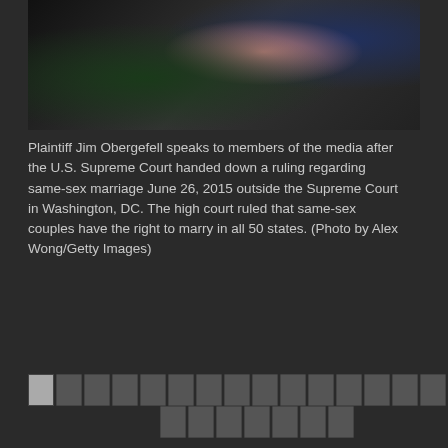[Figure (photo): Partial photograph showing people at a press event, with green foliage, pink garment, and dark blue clothing visible, appearing to be from the U.S. Supreme Court steps.]
Plaintiff Jim Obergefell speaks to members of the media after the U.S. Supreme Court handed down a ruling regarding same-sex marriage June 26, 2015 outside the Supreme Court in Washington, DC. The high court ruled that same-sex couples have the right to marry in all 50 states. (Photo by Alex Wong/Getty Images)